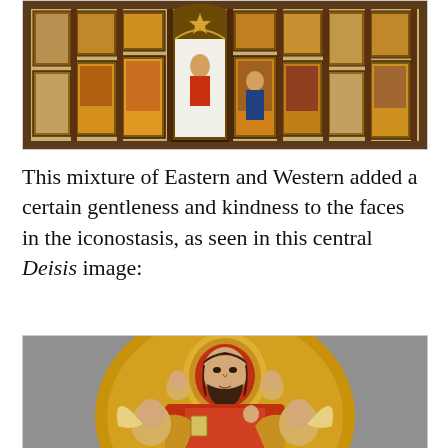[Figure (photo): A wide panoramic photograph of an ornate Eastern Orthodox iconostasis featuring multiple tiers of religious icon paintings in gilded frames, with a central royal door decorated with intricate golden metalwork and a large star or cross ornament at the top center. The icons depict various saints and biblical scenes in Byzantine style.]
This mixture of Eastern and Western added a certain gentleness and kindness to the faces in the iconostasis, as seen in this central Deisis image:
[Figure (photo): A close-up photograph of a central Deisis icon showing Christ Pantocrator seated on a throne with a golden halo and ornate mandorla, flanked by angels. The image blends Eastern Byzantine style with Western artistic influences, showing softer, gentler facial features. Christ holds a book and raises his right hand in blessing.]